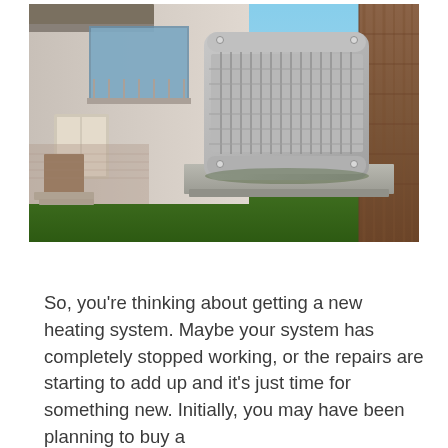[Figure (photo): Photograph of a modern house exterior with an HVAC outdoor air conditioning/heating unit on a concrete pad. The unit is large, boxy with rounded corners and metal grille panels, silvery-gray in color. The house is light-colored with large windows. Green lawn grass is visible in the foreground.]
So, you're thinking about getting a new heating system. Maybe your system has completely stopped working, or the repairs are starting to add up and it's just time for something new. Initially, you may have been planning to buy a